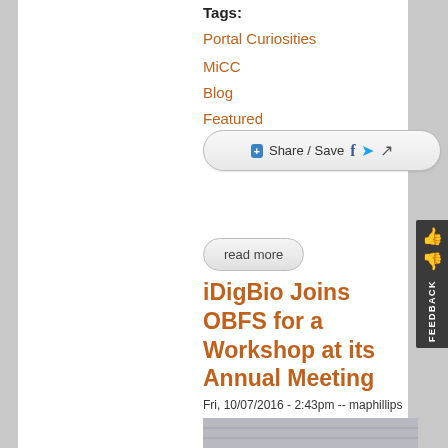Tags:
Portal Curiosities
MiCC
Blog
Featured
[Figure (screenshot): Share / Save button with Facebook, Twitter, and share icons]
read more
iDigBio Joins OBFS for a Workshop at its Annual Meeting
Fri, 10/07/2016 - 2:43pm -- maphillips
[Figure (photo): Interior of a conference/workshop room with projectors and screens showing presentation content]